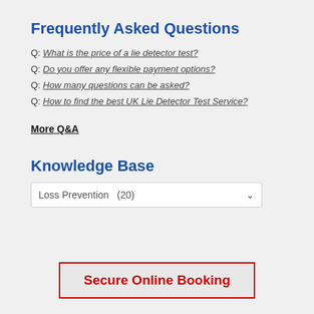Frequently Asked Questions
Q: What is the price of a lie detector test?
Q: Do you offer any flexible payment options?
Q: How many questions can be asked?
Q: How to find the best UK Lie Detector Test Service?
More Q&A
Knowledge Base
Loss Prevention  (20)
Secure Online Booking